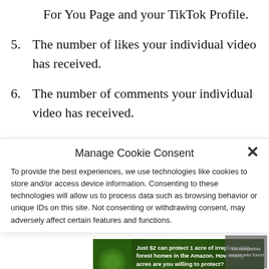For You Page and your TikTok Profile.
5. The number of likes your individual video has received.
6. The number of comments your individual video has received.
Manage Cookie Consent
To provide the best experiences, we use technologies like cookies to store and/or access device information. Consenting to these technologies will allow us to process data such as browsing behavior or unique IDs on this site. Not consenting or withdrawing consent, may adversely affect certain features and functions.
[Figure (screenshot): Advertisement banner: Just $2 can protect 1 acre of irreplaceable forest homes in the Amazon. How many acres are you willing to protect? PROTECT FORESTS NOW button on green background with forest animal image.]
[Figure (screenshot): Video player showing 'No compatible source was found' message with TikTok logo visible.]